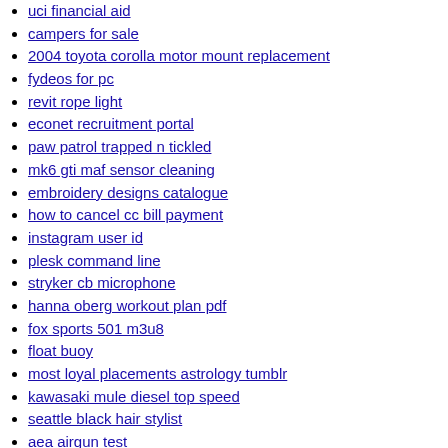uci financial aid
campers for sale
2004 toyota corolla motor mount replacement
fydeos for pc
revit rope light
econet recruitment portal
paw patrol trapped n tickled
mk6 gti maf sensor cleaning
embroidery designs catalogue
how to cancel cc bill payment
instagram user id
plesk command line
stryker cb microphone
hanna oberg workout plan pdf
fox sports 501 m3u8
float buoy
most loyal placements astrology tumblr
kawasaki mule diesel top speed
seattle black hair stylist
aea airgun test
a 1gbps network switch can manage more dante channels than a single 1gbps link can
muhlenberg county busted
worcester telegram
ue4 dash movement